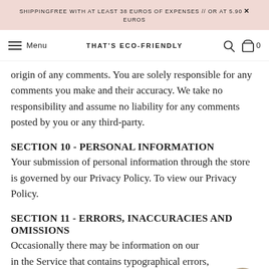SHIPPINGFREE WITH AT LEAST 38 EUROS OF EXPENSES // OR AT 5.90 EUROS
Menu   THAT'S ECO-FRIENDLY   0
origin of any comments. You are solely responsible for any comments you make and their accuracy. We take no responsibility and assume no liability for any comments posted by you or any third-party.
SECTION 10 - PERSONAL INFORMATION
Your submission of personal information through the store is governed by our Privacy Policy. To view our Privacy Policy.
SECTION 11 - ERRORS, INACCURACIES AND OMISSIONS
Occasionally there may be information on our in the Service that contains typographical errors, inaccuracies or omissions that may relate to product